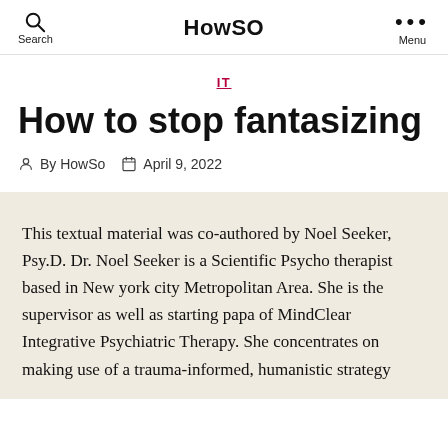HowSO
IT
How to stop fantasizing
By HowSo   April 9, 2022
This textual material was co-authored by Noel Seeker, Psy.D. Dr. Noel Seeker is a Scientific Psycho therapist based in New york city Metropolitan Area. She is the supervisor as well as starting papa of MindClear Integrative Psychiatric Therapy. She concentrates on making use of a trauma-informed, humanistic strategy